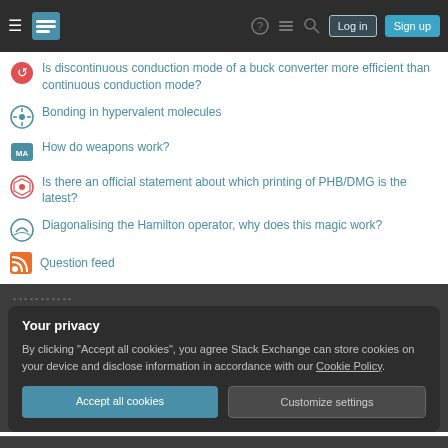Stack Exchange navigation bar with Log in and Sign up buttons
Is discontinuous conduction mode of a buck converter more efficient than continuous conduction mode?
Bonding in hypervalent molecules
How do weapons work?
Is there an official statement about which printing of PHB/DMG is the latest?
Diagonalising the Hamilton operator, why does this magic work?
Question feed
Your privacy
By clicking "Accept all cookies", you agree Stack Exchange can store cookies on your device and disclose information in accordance with our Cookie Policy.
Accept all cookies
Customize settings
STACK EXCHANGE NETWORK